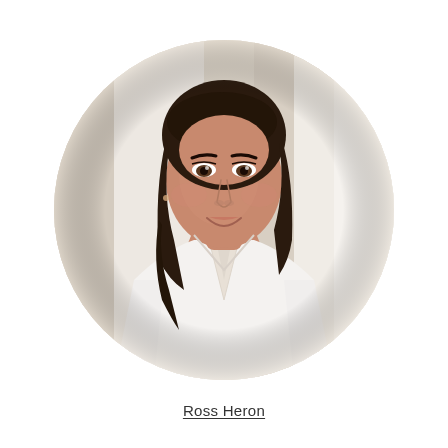[Figure (photo): Circular cropped professional headshot of a woman with dark brown shoulder-length hair, wearing a white blouse with a scarf/tie detail. She is smiling subtly and looking slightly to the side. The background is light/blurred beige and white tones suggesting an office or studio setting.]
Ross Heron